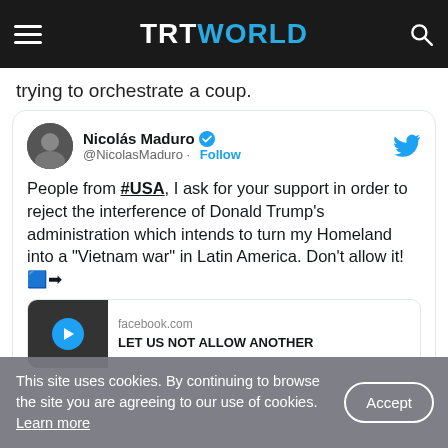TRT WORLD
trying to orchestrate a coup.
[Figure (screenshot): Embedded tweet from Nicolás Maduro (@NicolasMaduro) with verified badge and Follow button. Tweet text: 'People from #USA, I ask for your support in order to reject the interference of Donald Trump's administration which intends to turn my Homeland into a "Vietnam war" in Latin America. Don't allow it! ➡️' with a Facebook media card showing 'facebook.com' and 'LET US NOT ALLOW ANOTHER']
This site uses cookies. By continuing to browse the site you are agreeing to our use of cookies. Learn more